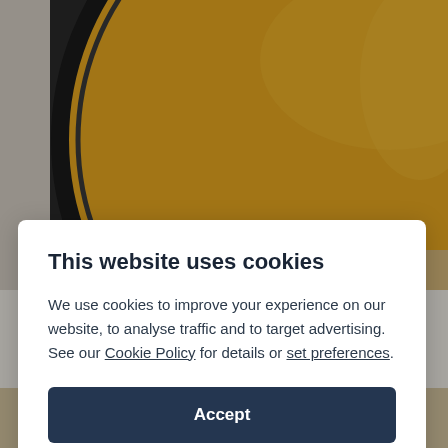[Figure (photo): Close-up photo of a round tin container with a yellow/golden lid and dark metal rim, on a light beige surface. A second partial image is visible at the bottom of the page.]
This website uses cookies
We use cookies to improve your experience on our website, to analyse traffic and to target advertising. See our Cookie Policy for details or set preferences.
Accept